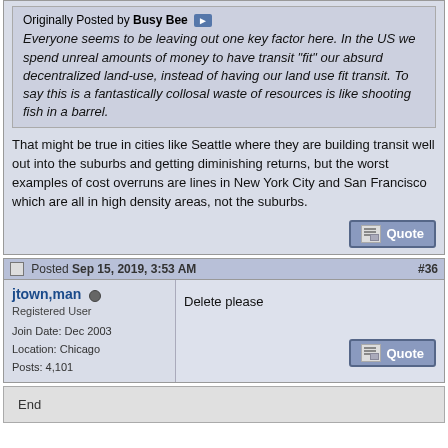Originally Posted by Busy Bee — Everyone seems to be leaving out one key factor here. In the US we spend unreal amounts of money to have transit "fit" our absurd decentralized land-use, instead of having our land use fit transit. To say this is a fantastically collosal waste of resources is like shooting fish in a barrel.
That might be true in cities like Seattle where they are building transit well out into the suburbs and getting diminishing returns, but the worst examples of cost overruns are lines in New York City and San Francisco which are all in high density areas, not the suburbs.
Posted Sep 15, 2019, 3:53 AM #36
jtown,man
Registered User
Join Date: Dec 2003
Location: Chicago
Posts: 4,101
Delete please
End